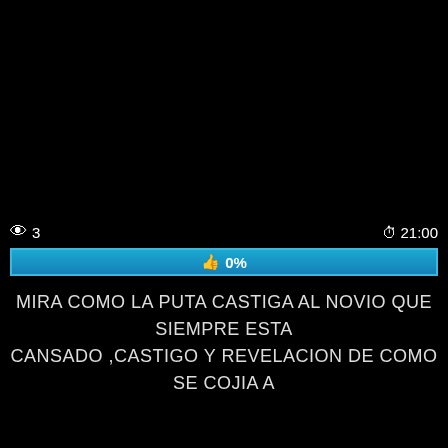👁 3   🕐 21:00
[Figure (infographic): Blue progress bar showing 👍 0%]
MIRA COMO LA PUTA CASTIGA AL NOVIO QUE SIEMPRE ESTA CANSADO ,CASTIGO Y REVELACION DE COMO SE COJIA A